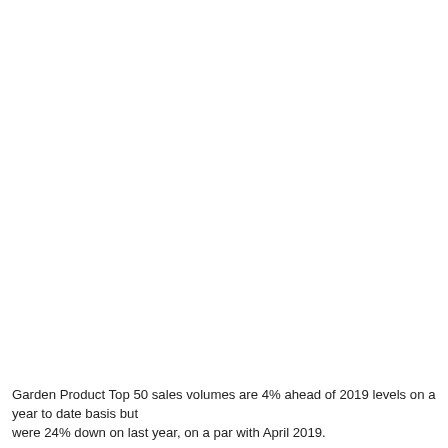Garden Product Top 50 sales volumes are 4% ahead of 2019 levels on a year to date basis but were 24% down on last year, on a par with April 2019.